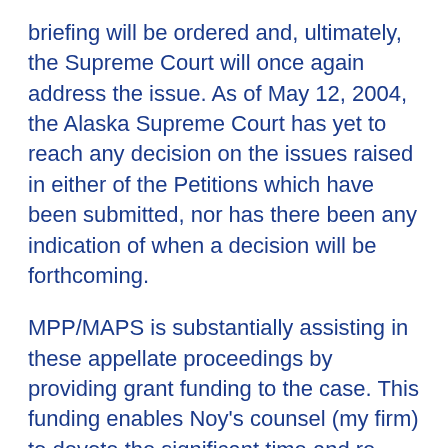briefing will be ordered and, ultimately, the Supreme Court will once again address the issue. As of May 12, 2004, the Alaska Supreme Court has yet to reach any decision on the issues raised in either of the Petitions which have been submitted, nor has there been any indication of when a decision will be forthcoming.
MPP/MAPS is substantially assisting in these appellate proceedings by providing grant funding to the case. This funding enables Noy's counsel (my firm) to devote the significant time and re- sources to the case which has been necessitated by the State of Alaska's Opposition, which is attempting to overturn the underlying Ravin de- cision in the process of addressing the issues of Alaska's constitutional right to privacy raised in Noy. The ultimate outcome of the